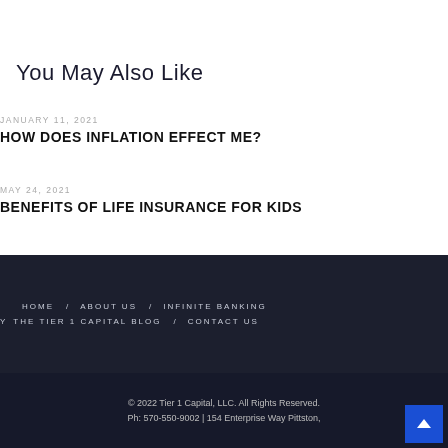Menu
You May Also Like
JANUARY 11, 2021
HOW DOES INFLATION EFFECT ME?
MAY 24, 2021
BENEFITS OF LIFE INSURANCE FOR KIDS
HOME / ABOUT US / INFINITE BANKING / THE TIER 1 CAPITAL BLOG / CONTACT US
© 2022 Tier 1 Capital, LLC. All Rights Reserved. Ph: 570-550-9002 | 154 Enterprise Way Pittston,